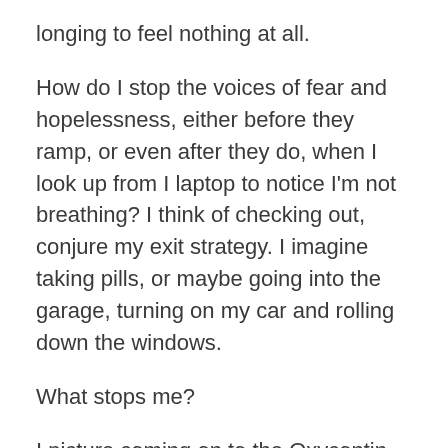longing to feel nothing at all.
How do I stop the voices of fear and hopelessness, either before they ramp, or even after they do, when I look up from I laptop to notice I'm not breathing? I think of checking out, conjure my exit strategy. I imagine taking pills, or maybe going into the garage, turning on my car and rolling down the windows.
What stops me?
I picture coming on to the Oxycontin, or choking on carbon monoxide, then throwing up, then blacking out. Then nothing. Ever again. No awareness, no consciousness once the neurons stop firing. No taking it back. No second chance.